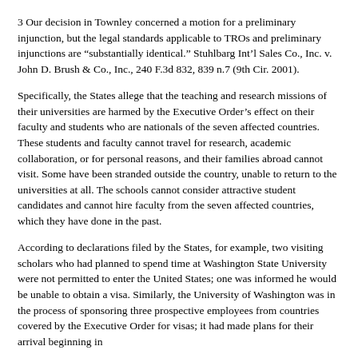3 Our decision in Townley concerned a motion for a preliminary injunction, but the legal standards applicable to TROs and preliminary injunctions are “substantially identical.” Stuhlbarg Int’l Sales Co., Inc. v. John D. Brush & Co., Inc., 240 F.3d 832, 839 n.7 (9th Cir. 2001).
Specifically, the States allege that the teaching and research missions of their universities are harmed by the Executive Order’s effect on their faculty and students who are nationals of the seven affected countries. These students and faculty cannot travel for research, academic collaboration, or for personal reasons, and their families abroad cannot visit. Some have been stranded outside the country, unable to return to the universities at all. The schools cannot consider attractive student candidates and cannot hire faculty from the seven affected countries, which they have done in the past.
According to declarations filed by the States, for example, two visiting scholars who had planned to spend time at Washington State University were not permitted to enter the United States; one was informed he would be unable to obtain a visa. Similarly, the University of Washington was in the process of sponsoring three prospective employees from countries covered by the Executive Order for visas; it had made plans for their arrival beginning in